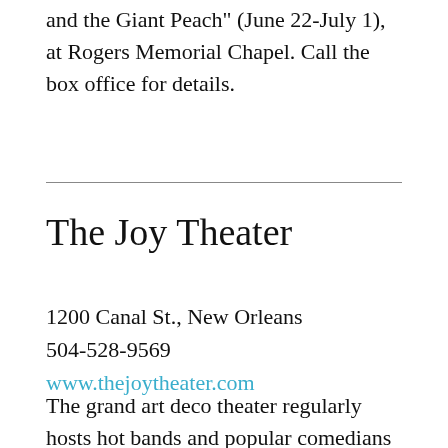and the Giant Peach" (June 22-July 1), at Rogers Memorial Chapel. Call the box office for details.
The Joy Theater
1200 Canal St., New Orleans
504-528-9569
www.thejoytheater.com
The grand art deco theater regularly hosts hot bands and popular comedians at a location on